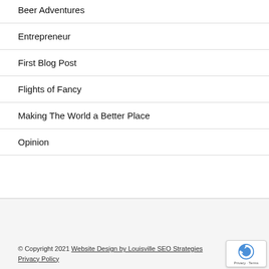Beer Adventures
Entrepreneur
First Blog Post
Flights of Fancy
Making The World a Better Place
Opinion
© Copyright 2021 Website Design by Louisville SEO Strategies
Privacy Policy